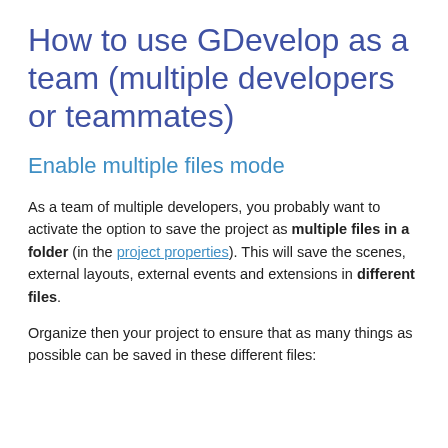How to use GDevelop as a team (multiple developers or teammates)
Enable multiple files mode
As a team of multiple developers, you probably want to activate the option to save the project as multiple files in a folder (in the project properties). This will save the scenes, external layouts, external events and extensions in different files.
Organize then your project to ensure that as many things as possible can be saved in these different files: